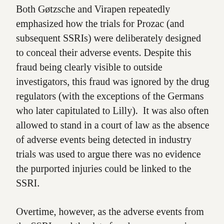Both Gøtzsche and Virapen repeatedly emphasized how the trials for Prozac (and subsequent SSRIs) were deliberately designed to conceal their adverse events. Despite this fraud being clearly visible to outside investigators, this fraud was ignored by the drug regulators (with the exceptions of the Germans who later capitulated to Lilly).  It was also often allowed to stand in a court of law as the absence of adverse events being detected in industry trials was used to argue there was no evidence the purported injuries could be linked to the SSRI.
Overtime, however, as the adverse events from the SSRIs and the data fraud was so egregious, courts ruled against Lilly and forced them to reveal concealed industry documents that clearly show significant adverse events were occurring from Prozac they